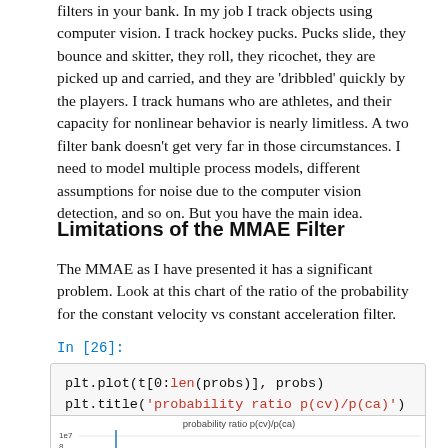filters in your bank. In my job I track objects using computer vision. I track hockey pucks. Pucks slide, they bounce and skitter, they roll, they ricochet, they are picked up and carried, and they are 'dribbled' quickly by the players. I track humans who are athletes, and their capacity for nonlinear behavior is nearly limitless. A two filter bank doesn't get very far in those circumstances. I need to model multiple process models, different assumptions for noise due to the computer vision detection, and so on. But you have the main idea.
Limitations of the MMAE Filter
The MMAE as I have presented it has a significant problem. Look at this chart of the ratio of the probability for the constant velocity vs constant acceleration filter.
In [26]:
plt.plot(t[0:len(probs)], probs)
plt.title('probability ratio p(cv)/p(ca)')
plt.xlabel('time (sec)');
[Figure (continuous-plot): Partial view of a matplotlib chart titled 'probability ratio p(cv)/p(ca)' with y-axis showing 1e7 scale and value 8 visible, chart is cropped at bottom of page.]